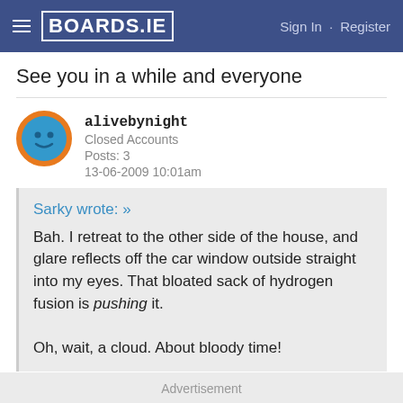BOARDS.IE  Sign In · Register
See you in a while and everyone
alivebynight
Closed Accounts
Posts: 3
13-06-2009 10:01am
Sarky wrote: »
Bah. I retreat to the other side of the house, and glare reflects off the car window outside straight into my eyes. That bloated sack of hydrogen fusion is pushing it.

Oh, wait, a cloud. About bloody time!
Advertisement